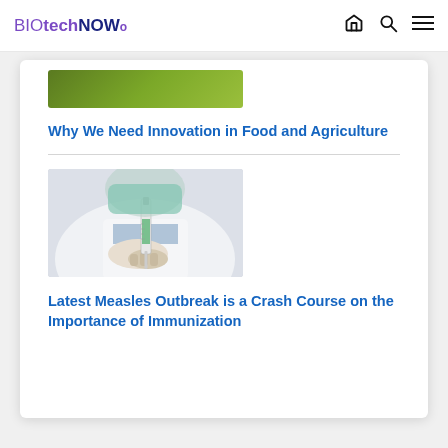BIOtechNOWo
[Figure (photo): Partial view of a green image (cropped) — food/agriculture themed]
Why We Need Innovation in Food and Agriculture
[Figure (photo): Healthcare worker in mask and white coat holding a vaccine syringe]
Latest Measles Outbreak is a Crash Course on the Importance of Immunization